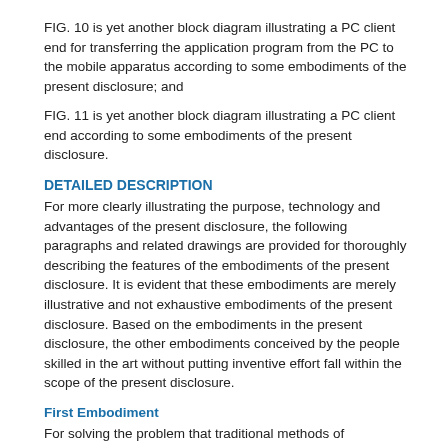FIG. 10 is yet another block diagram illustrating a PC client end for transferring the application program from the PC to the mobile apparatus according to some embodiments of the present disclosure; and
FIG. 11 is yet another block diagram illustrating a PC client end according to some embodiments of the present disclosure.
DETAILED DESCRIPTION
For more clearly illustrating the purpose, technology and advantages of the present disclosure, the following paragraphs and related drawings are provided for thoroughly describing the features of the embodiments of the present disclosure. It is evident that these embodiments are merely illustrative and not exhaustive embodiments of the present disclosure. Based on the embodiments in the present disclosure, the other embodiments conceived by the people skilled in the art without putting inventive effort fall within the scope of the present disclosure.
First Embodiment
For solving the problem that traditional methods of transferring the application program from the PC end to the mobile apparatus end affects user experience and has low efficiency in transferring, one embodiment of the present disclosure provides a method for transferring application program from a PC to a mobile apparatus. Wherein, the PC is a personal computer, the mobile apparatus includes smartphone, tablet computer .etc, the PC end application program (application program) is a software...